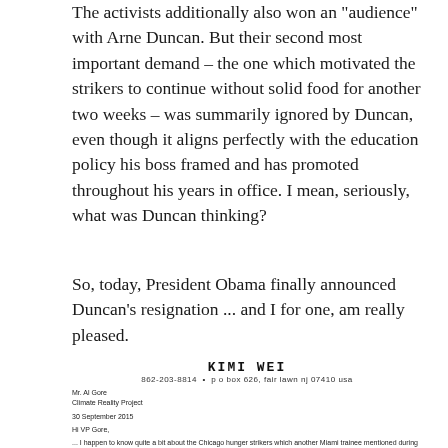The activists additionally also won an "audience" with Arne Duncan. But their second most important demand – the one which motivated the strikers to continue without solid food for another two weeks – was summarily ignored by Duncan, even though it aligns perfectly with the education policy his boss framed and has promoted throughout his years in office. I mean, seriously, what was Duncan thinking?
So, today, President Obama finally announced Duncan's resignation ... and I for one, am really pleased.
[Figure (other): A letter from Kimi Wei (862-203-8814, p o box 626, fair lawn nj 07410 usa) addressed to Mr. Al Gore, Climate Reality Project, dated 30 September 2015. The letter begins 'Hi VP Gore,' and discusses Chicago hunger strikers mentioned by a Miami trainee during a Q&A, and references Journey 4 Justice education alliance and 'Death By a Thousand Cuts' white paper.]